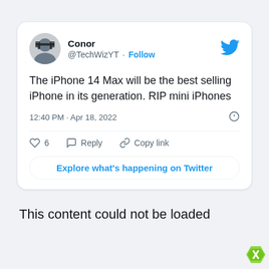[Figure (screenshot): Screenshot of a tweet by Conor (@TechWizYT) saying 'The iPhone 14 Max will be the best selling iPhone in its generation. RIP mini iPhones', posted at 12:40 PM · Apr 18, 2022, with 6 likes, Reply and Copy link actions, and an 'Explore what's happening on Twitter' button.]
This content could not be loaded